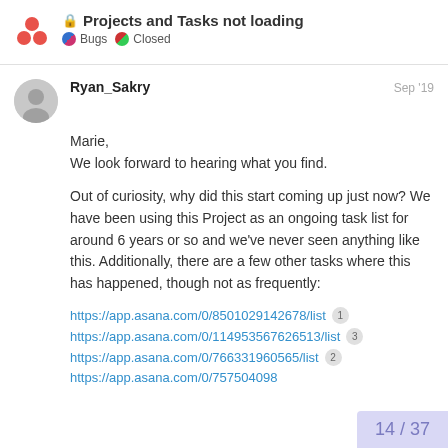🔒 Projects and Tasks not loading
Bugs • Closed
Ryan_Sakry  Sep '19
Marie,
We look forward to hearing what you find.

Out of curiosity, why did this start coming up just now? We have been using this Project as an ongoing task list for around 6 years or so and we've never seen anything like this. Additionally, there are a few other tasks where this has happened, though not as frequently:
https://app.asana.com/0/8501029142678/list
https://app.asana.com/0/114953567626513/list
https://app.asana.com/0/766331960565/list
https://app.asana.com/0/757504098...
14 / 37